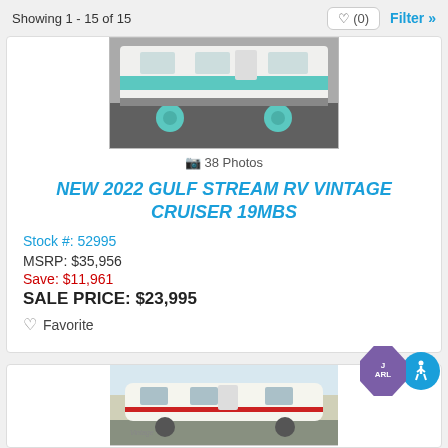Showing 1 - 15 of 15
[Figure (photo): Photo of a vintage RV camper trailer with teal/turquoise accent color and matching wheels, parked on asphalt. Bottom portion of trailer visible.]
38 Photos
NEW 2022 GULF STREAM RV VINTAGE CRUISER 19MBS
Stock #: 52995
MSRP: $35,956
Save: $11,961
SALE PRICE: $23,995
Favorite
[Figure (photo): Photo of a white vintage-style RV trailer with a red accent stripe, parked outdoors.]